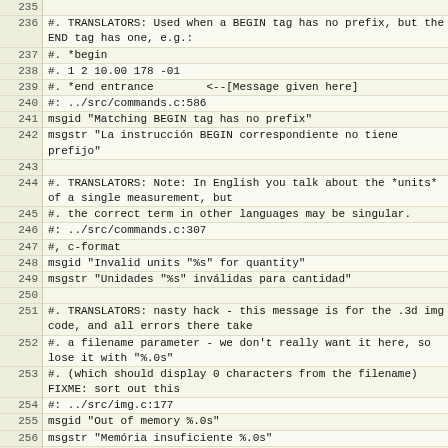| Line | Code |
| --- | --- |
| 235 |  |
| 236 | #. TRANSLATORS: Used when a BEGIN tag has no prefix, but the END tag has one, e.g.: |
| 237 | #. *begin |
| 238 | #. 1 2 10.00 178 -01 |
| 239 | #. *end entrance        <--[Message given here] |
| 240 | #: ../src/commands.c:586 |
| 241 | msgid "Matching BEGIN tag has no prefix" |
| 242 | msgstr "La instrucción BEGIN correspondiente no tiene prefijo" |
| 243 |  |
| 244 | #. TRANSLATORS: Note: In English you talk about the *units* of a single measurement, but |
| 245 | #. the correct term in other languages may be singular. |
| 246 | #: ../src/commands.c:307 |
| 247 | #, c-format |
| 248 | msgid "Invalid units "%s" for quantity" |
| 249 | msgstr "Unidades "%s" inválidas para cantidad" |
| 250 |  |
| 251 | #. TRANSLATORS: nasty hack - this message is for the .3d img code, and all errors there take |
| 252 | #. a filename parameter - we don't really want it here, so lose it with "%.0s" |
| 253 | #. (which should display 0 characters from the filename) FIXME: sort out this |
| 254 | #: ../src/img.c:177 |
| 255 | msgid "Out of memory %.0s" |
| 256 | msgstr "Memória insuficiente %.0s" |
| 257 |  |
| 258 | #: ../src/commands.c:366 |
| 259 | #, c-format |
| 260 | msgid "Unknown instrument "%s"" |
| 261 | msgstr "Instrumento "%s" desconocido" |